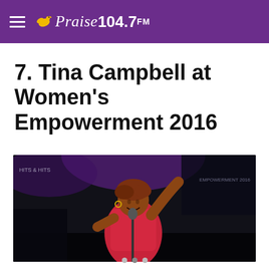Praise 104.7 FM
7. Tina Campbell at Women's Empowerment 2016
[Figure (photo): Tina Campbell performing on stage at Women's Empowerment 2016, wearing a red outfit and waving her hand, speaking into a microphone with purple stage lighting in the background.]
• • •